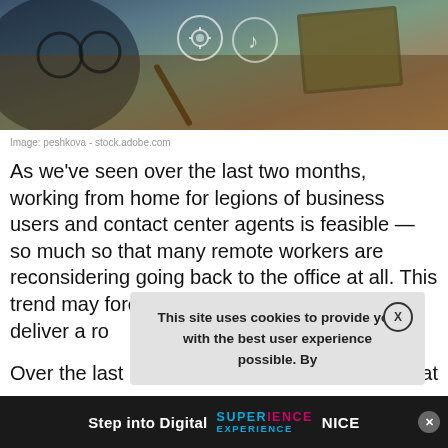[Figure (photo): Photo of a desk with glasses, pen, notebook, and digital icons overlaid]
Image: peshkova - stock.adobe.com
As we've seen over the last two months, working from home for legions of business users and contact center agents is feasible — so much so that many remote workers are reconsidering going back to the office at all. This trend may force a networking rethink on how to deliver a ro
Over the last                                erved that role at branch                                r UC videocon                                tion traffic directly                             nnections
[Figure (screenshot): Cookie consent popup: 'This site uses cookies to provide you with the best user experience possible. By' with X close button]
[Figure (infographic): Bottom ad banner: 'Step into Digital SUPERIENCE NICE' on dark background with close X button]